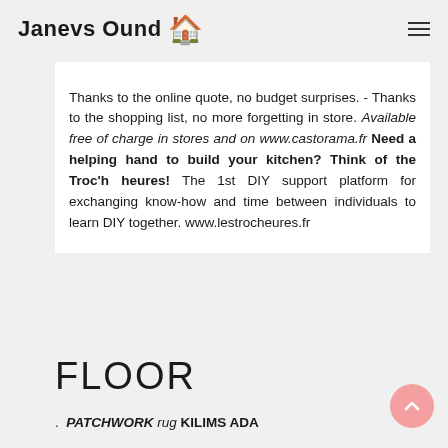Janevs Ound 🏠
Thanks to the online quote, no budget surprises. - Thanks to the shopping list, no more forgetting in store. Available free of charge in stores and on www.castorama.fr Need a helping hand to build your kitchen? Think of the Troc'h heures! The 1st DIY support platform for exchanging know-how and time between individuals to learn DIY together. www.lestrocheures.fr
FLOOR
. PATCHWORK rug KILIMS ADA //www.kilims.fr/fr/ Tel: 01 42 45 02 01